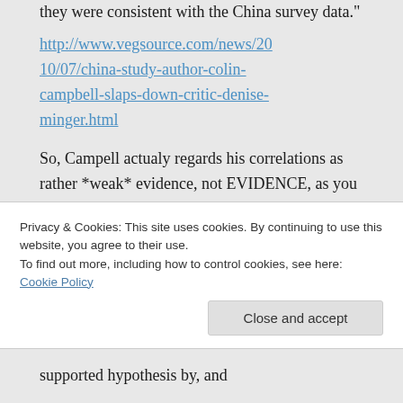they were consistent with the China survey data."
http://www.vegsource.com/news/2010/07/china-study-author-colin-campbell-slaps-down-critic-denise-minger.html
So, Campell actualy regards his correlations as rather *weak* evidence, not EVIDENCE, as you say.
Privacy & Cookies: This site uses cookies. By continuing to use this website, you agree to their use.
To find out more, including how to control cookies, see here: Cookie Policy
Close and accept
supported hypothesis by, and